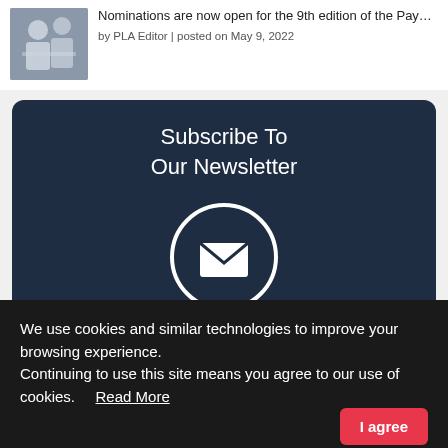[Figure (photo): Thumbnail image of two people at a podium/event]
Nominations are now open for the 9th edition of the Pay... by PLA Editor | posted on May 9, 2022
Subscribe To Our Newsletter
[Figure (illustration): White envelope/mail icon inside a white circle on dark blue background]
Email (required) *
We use cookies and similar technologies to improve your browsing experience.
Continuing to use this site means you agree to our use of cookies.   Read More
I agree